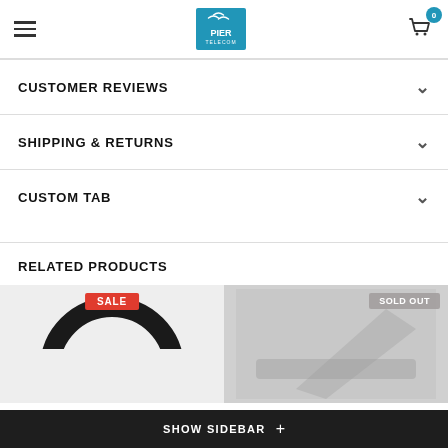Pier Telecom — navigation header with logo, hamburger menu, and cart
CUSTOMER REVIEWS
SHIPPING & RETURNS
CUSTOM TAB
RELATED PRODUCTS
[Figure (screenshot): Product thumbnail with SALE badge — black headphone ring visible]
[Figure (screenshot): Product thumbnail with SOLD OUT badge — dark product partially visible]
SHOW SIDEBAR +